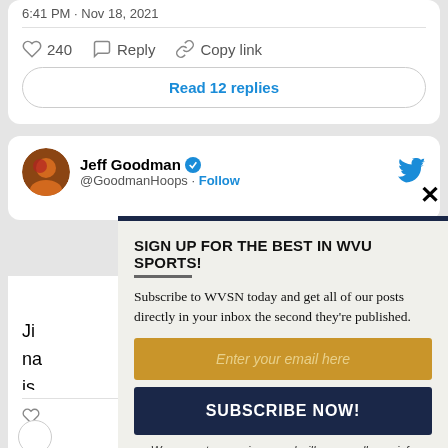[Figure (screenshot): Twitter/social media feed screenshot showing tweet interactions (like 240, Reply, Copy link) and Read 12 replies button]
240  Reply  Copy link
Read 12 replies
Jeff Goodman @GoodmanHoops · Follow
Ji na is co Or
9:0
[Figure (infographic): Newsletter signup popup overlay: SIGN UP FOR THE BEST IN WVU SPORTS! Subscribe to WVSN today and get all of our posts directly in your inbox the second they're published. Enter your email here. SUBSCRIBE NOW! We respect your privacy and will never sell your info]
SIGN UP FOR THE BEST IN WVU SPORTS!
Subscribe to WVSN today and get all of our posts directly in your inbox the second they're published.
Enter your email here
SUBSCRIBE NOW!
We respect your privacy and will never sell your info